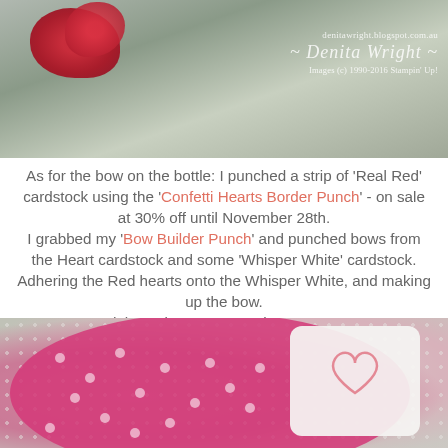[Figure (photo): Top photo showing red flowers/blooms on a muted green/grey background with a watermark overlay reading 'denitawright.blogspot.com.au ~ Denita Wright ~ Images (c) 1990-2016 Stampin' Up!']
As for the bow on the bottle: I punched a strip of 'Real Red' cardstock using the 'Confetti Hearts Border Punch' - on sale at 30% off until November 28th.
I grabbed my 'Bow Builder Punch' and punched bows from the Heart cardstock and some 'Whisper White' cardstock. Adhering the Red hearts onto the Whisper White, and making up the bow.
And the swing tag? Stop-the-cuteness!!!
[Figure (photo): Bottom photo showing a pink/magenta polka dot fabric heart and a white tag with a pink heart outline, on a neutral background]